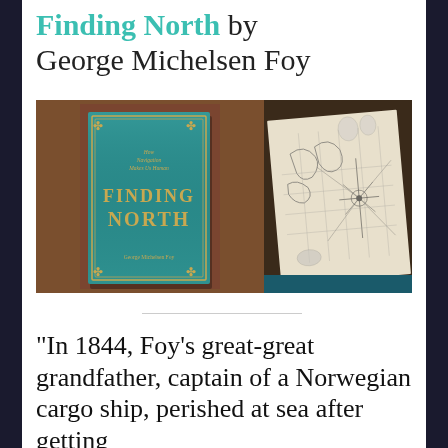Finding North by George Michelsen Foy
[Figure (photo): Two photos side by side: left photo shows the book cover of 'Finding North: How Navigation Makes Us Human' by George Michelsen Foy on a wooden table — the cover is teal/blue with gold decorative borders and gold lettering; right photo shows an open page of the book featuring an antique nautical map or chart.]
“In 1844, Foy’s great-great grandfather, captain of a Norwegian cargo ship, perished at sea after getting